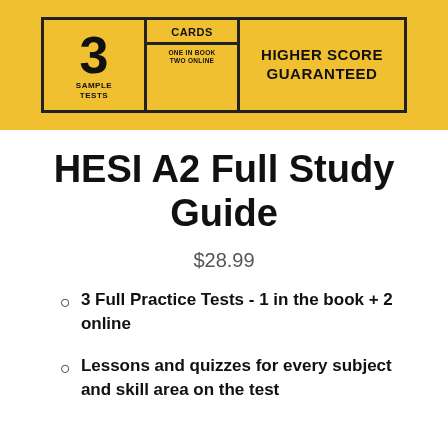[Figure (illustration): Book cover banner showing '3 SAMPLE TESTS', 'FLASH CARDS ONE IN BOOK TWO ONLINE', and 'HIGHER SCORE GUARANTEED' on a yellow background with black borders]
HESI A2 Full Study Guide
$28.99
3 Full Practice Tests - 1 in the book + 2 online
Lessons and quizzes for every subject and skill area on the test